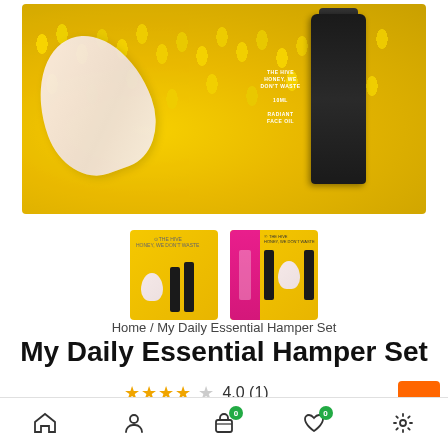[Figure (photo): Product photo showing skincare items including a gua sha stone and a dark bottle of Radiant Face Oil from The Hive, laid on yellow chrysanthemum flowers]
[Figure (photo): Two thumbnail images of the My Daily Essential Hamper Set product]
Home / My Daily Essential Hamper Set
My Daily Essential Hamper Set
★★★★☆ 4.0 (1)